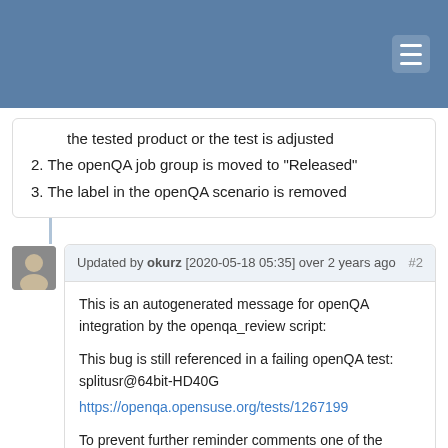the tested product or the test is adjusted
2. The openQA job group is moved to "Released"
3. The label in the openQA scenario is removed
Updated by okurz [2020-05-18 05:35] over 2 years ago #2
This is an autogenerated message for openQA integration by the openqa_review script:
This bug is still referenced in a failing openQA test: splitusr@64bit-HD40G
https://openqa.opensuse.org/tests/1267199
To prevent further reminder comments one of the following options should be followed:
1. The test scenario is fixed by applying the bug fix to